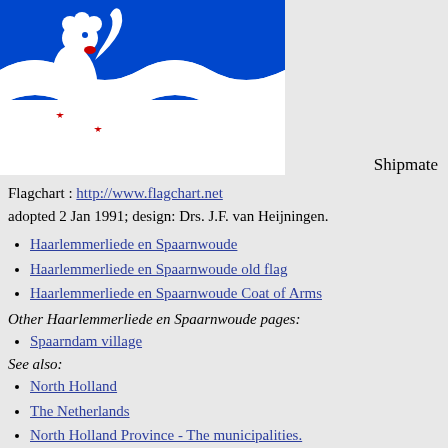[Figure (illustration): Flag of Haarlemmerliede en Spaarnwoude: blue background with white wavy stripe, white lion with red claws and tongue on the left side. Next to the flag image, the word 'Shipmate' appears.]
Flagchart : http://www.flagchart.net
adopted 2 Jan 1991; design: Drs. J.F. van Heijningen.
Haarlemmerliede en Spaarnwoude
Haarlemmerliede en Spaarnwoude old flag
Haarlemmerliede en Spaarnwoude Coat of Arms
Other Haarlemmerliede en Spaarnwoude pages:
Spaarndam village
See also:
North Holland
The Netherlands
North Holland Province - The municipalities.
Alphabetical list of Dutch municipalities